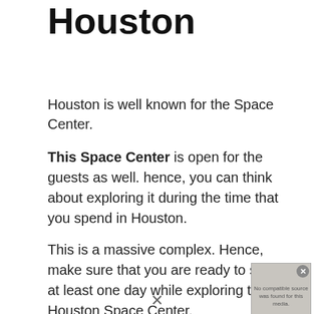Houston
Houston is well known for the Space Center.
This Space Center is open for the guests as well. hence, you can think about exploring it during the time that you spend in Houston.
This is a massive complex. Hence, make sure that you are ready to spend at least one day while exploring the Houston Space Center.
You can learn a lot about space science as
[Figure (screenshot): Overlapping video player showing 'No compatible source was found for this media.' message on a grayed background, with close button.]
[Figure (screenshot): Advertisement banner: 'We believe the global pollution crisis can be solved.' with Pure Earth branding and JOIN US call to action.]